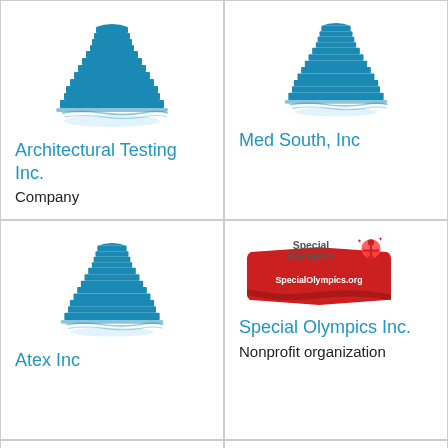[Figure (logo): Blue building/skyscraper icon for Architectural Testing Inc.]
Architectural Testing Inc.
Company
[Figure (logo): Blue building/skyscraper icon for Med South, Inc]
Med South, Inc
[Figure (logo): Blue building/skyscraper icon for Atex Inc]
Atex Inc
[Figure (logo): Special Olympics Inc. logo with red banner and torch figure]
Special Olympics Inc.
Nonprofit organization
[Figure (logo): Blue building/skyscraper icon (partial, bottom row left)]
[Figure (logo): Blue building/skyscraper icon (partial, bottom row right)]